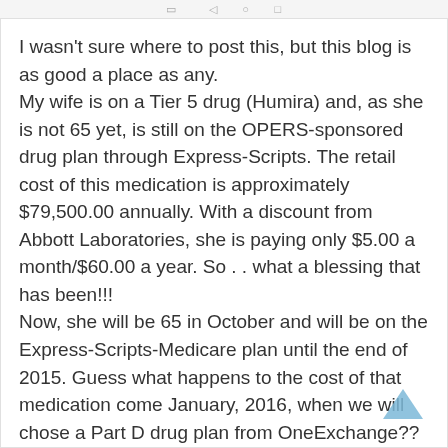I wasn't sure where to post this, but this blog is as good a place as any.
My wife is on a Tier 5 drug (Humira) and, as she is not 65 yet, is still on the OPERS-sponsored drug plan through Express-Scripts. The retail cost of this medication is approximately $79,500.00 annually. With a discount from Abbott Laboratories, she is paying only $5.00 a month/$60.00 a year. So . . what a blessing that has been!!!
Now, she will be 65 in October and will be on the Express-Scripts-Medicare plan until the end of 2015. Guess what happens to the cost of that medication come January, 2016, when we will chose a Part D drug plan from OneExchange?? I did a search on http://www.ehealthmedicareplans.com to compare costs of different plans (2015 prices), and of the plans that even cover this medication, her January, 2016 cost for this drug (again, 2015 prices) will be $2,577.00. She will be in and out of the “donut hole” (coverage gap) in 1 month. Her annual cost, out-of-pocket, for just this 1 medication will be $6,221.00!!!